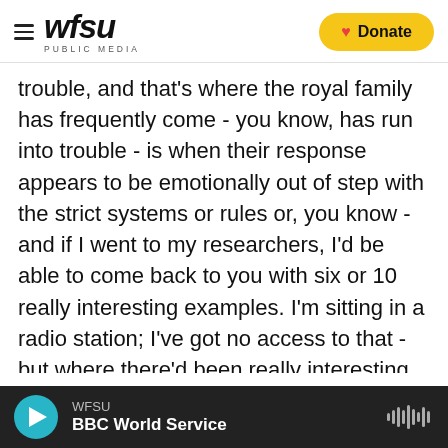WFSU PUBLIC MEDIA | Donate
trouble, and that's where the royal family has frequently come - you know, has run into trouble - is when their response appears to be emotionally out of step with the strict systems or rules or, you know - and if I went to my researchers, I'd be able to come back to you with six or 10 really interesting examples. I'm sitting in a radio station; I've got no access to that - but where there'd been really interesting examples where actually, you would want emotionally to respond in one way. But actually, it's really clear that in the case of, say, the Prince of Wales, you know, who's heir to the throne, the following rules apply.
WFSU | BBC World Service